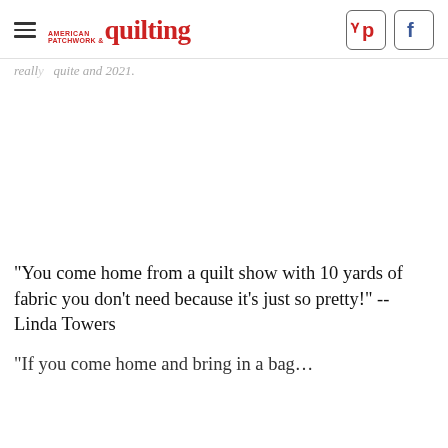American Patchwork & quilting
"You come home from a quilt show with 10 yards of fabric you don't need because it's just so pretty!" -- Linda Towers